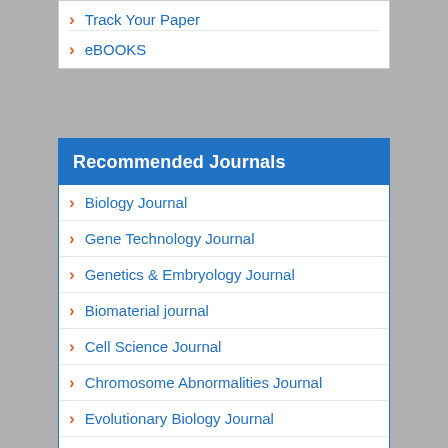Track Your Paper
eBOOKS
Recommended Journals
Biology Journal
Gene Technology Journal
Genetics & Embryology Journal
Biomaterial journal
Cell Science Journal
Chromosome Abnormalities Journal
Evolutionary Biology Journal
Stem Cell Research Journal
Tissue Science Journal
View More >>